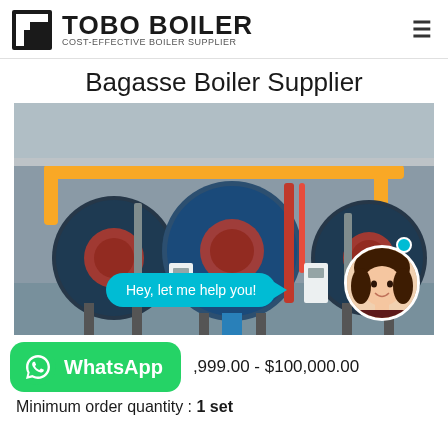TOBO BOILER — COST-EFFECTIVE BOILER SUPPLIER
Bagasse Boiler Supplier
[Figure (photo): Industrial boiler room with three large blue cylindrical boilers connected by yellow pipes, red fittings, and control panels. Overlay: cyan chat bubble saying 'Hey, let me help you!' with a female customer service avatar.]
,999.00 - $100,000.00
Minimum order quantity : 1 set